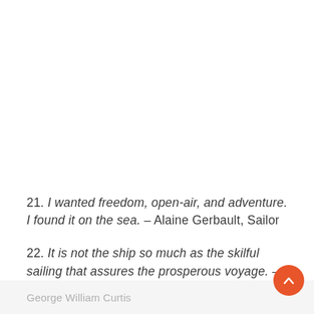21. I wanted freedom, open-air, and adventure. I found it on the sea. – Alaine Gerbault, Sailor
22. It is not the ship so much as the skilful sailing that assures the prosperous voyage. – George William Curtis